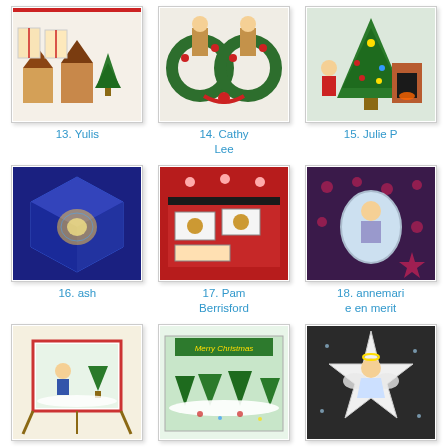[Figure (photo): Christmas craft item by Yulis, #13]
13. Yulis
[Figure (photo): Christmas craft item by Cathy Lee, #14]
14. Cathy Lee
[Figure (photo): Christmas craft item by Julie P, #15]
15. Julie P
[Figure (photo): Christmas craft item by ash, #16]
16. ash
[Figure (photo): Christmas craft item by Pam Berrisford, #17]
17. Pam Berrisford
[Figure (photo): Christmas craft item by annemarie en merit, #18]
18. annemarie en merit
[Figure (photo): Christmas craft item by Yulis, #19]
19. Yulis
[Figure (photo): Christmas craft item by Jean Hempel, #20]
20. Jean Hempel
[Figure (photo): Christmas craft item by Jolanda, #21]
21. Jolanda
[Figure (photo): Christmas craft item #22]
[Figure (photo): Christmas craft item #23]
[Figure (photo): Christmas craft item #24]